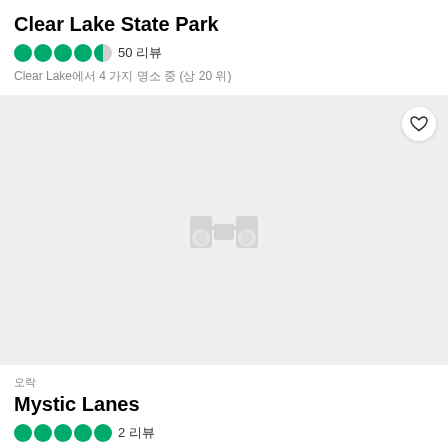Clear Lake State Park
50 리뷰
Clear Lake에서 4 가지 명소 중 (상 20 위)
[Figure (photo): Gray placeholder image with binoculars icon in center and heart button top right]
오락
Mystic Lanes
2 리뷰
Mason City에서 3 가지 명소 중 (상 4 위)
[Figure (photo): Bottom strip showing interior of a restaurant or bar with warm tones, a Harry Sweet Shop sign visible, and a heart button on right]